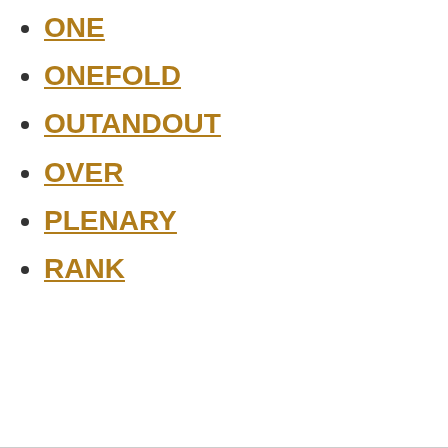ONE
ONEFOLD
OUTANDOUT
OVER
PLENARY
RANK